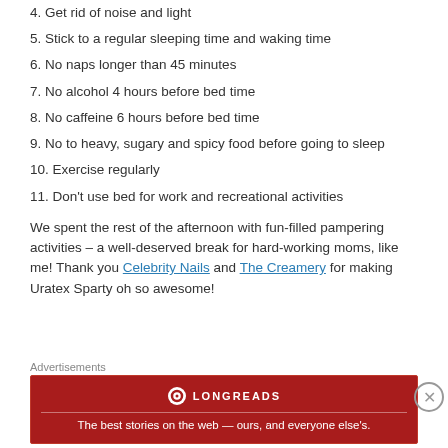4. Get rid of noise and light
5. Stick to a regular sleeping time and waking time
6. No naps longer than 45 minutes
7. No alcohol 4 hours before bed time
8. No caffeine 6 hours before bed time
9. No to heavy, sugary and spicy food before going to sleep
10. Exercise regularly
11. Don't use bed for work and recreational activities
We spent the rest of the afternoon with fun-filled pampering activities – a well-deserved break for hard-working moms, like me! Thank you Celebrity Nails and The Creamery for making Uratex Sparty oh so awesome!
Advertisements
[Figure (infographic): Longreads advertisement banner — red background with Longreads logo and text: 'The best stories on the web — ours, and everyone else's.']